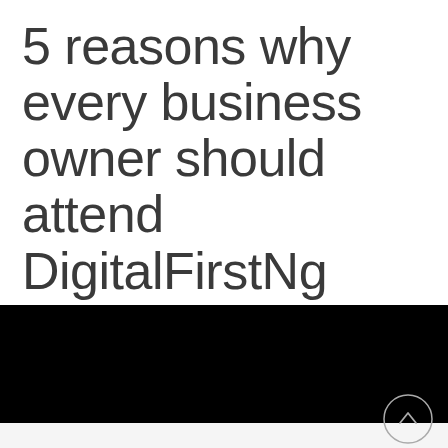5 reasons why every business owner should attend DigitalFirstNg training to grow your business
[Figure (photo): Black rectangular bar spanning full width, part of a webpage screenshot]
[Figure (other): Circular scroll-to-top button with upward chevron arrow, light gray outline]